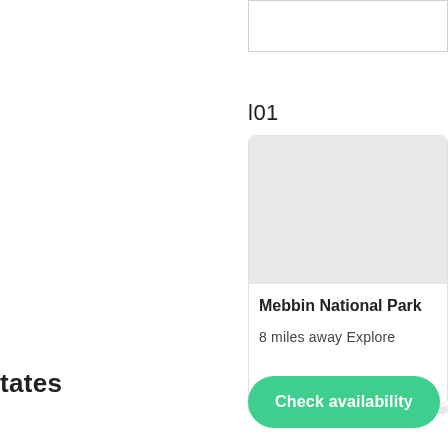[Figure (screenshot): Partial white rectangle with border visible at top right of page]
l01
[Figure (screenshot): Card UI component showing Mebbin National Park with a light grey image placeholder at top, bold title 'Mebbin National Park', and text '8 miles away Explore']
tates
[Figure (screenshot): Green rounded button labeled 'Check availability']